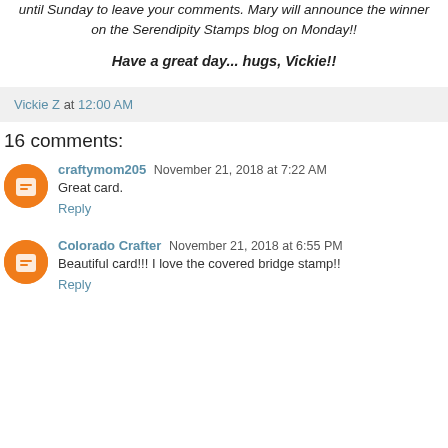until Sunday to leave your comments. Mary will announce the winner on the Serendipity Stamps blog on Monday!!
Have a great day... hugs, Vickie!!
Vickie Z at 12:00 AM
16 comments:
craftymom205 November 21, 2018 at 7:22 AM
Great card.
Reply
Colorado Crafter November 21, 2018 at 6:55 PM
Beautiful card!!! I love the covered bridge stamp!!
Reply